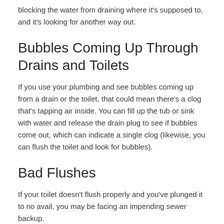blocking the water from draining where it's supposed to, and it's looking for another way out.
Bubbles Coming Up Through Drains and Toilets
If you use your plumbing and see bubbles coming up from a drain or the toilet, that could mean there's a clog that's tapping air inside. You can fill up the tub or sink with water and release the drain plug to see if bubbles come out, which can indicate a single clog (likewise, you can flush the toilet and look for bubbles).
Bad Flushes
If your toilet doesn't flush properly and you've plunged it to no avail, you may be facing an impending sewer backup.